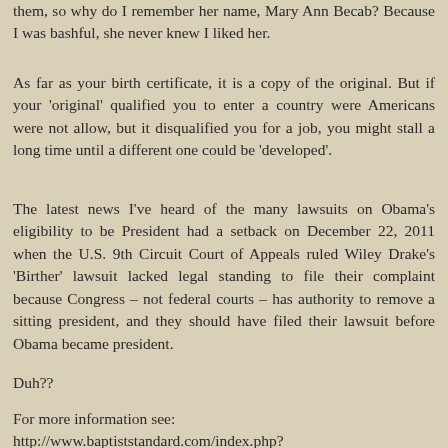them, so why do I remember her name, Mary Ann Becab? Because I was bashful, she never knew I liked her.
As far as your birth certificate, it is a copy of the original. But if your 'original' qualified you to enter a country were Americans were not allow, but it disqualified you for a job, you might stall a long time until a different one could be 'developed'.
The latest news I've heard of the many lawsuits on Obama's eligibility to be President had a setback on December 22, 2011 when the U.S. 9th Circuit Court of Appeals ruled Wiley Drake's 'Birther' lawsuit lacked legal standing to file their complaint because Congress – not federal courts – has authority to remove a sitting president, and they should have filed their lawsuit before Obama became president.
Duh??
For more information see:
http://www.baptiststandard.com/index.php?
option=com_content&task=view&id=13356&Itemid=53